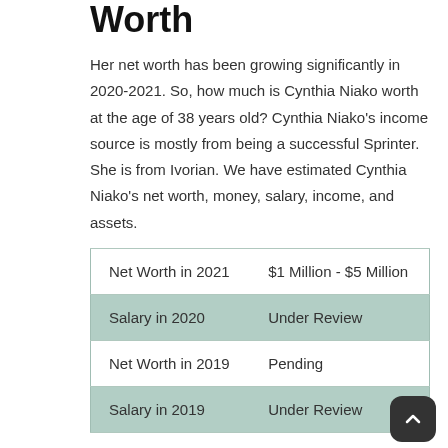Worth
Her net worth has been growing significantly in 2020-2021. So, how much is Cynthia Niako worth at the age of 38 years old? Cynthia Niako's income source is mostly from being a successful Sprinter. She is from Ivorian. We have estimated Cynthia Niako's net worth, money, salary, income, and assets.
| Net Worth in 2021 | $1 Million - $5 Million |
| Salary in 2020 | Under Review |
| Net Worth in 2019 | Pending |
| Salary in 2019 | Under Review |